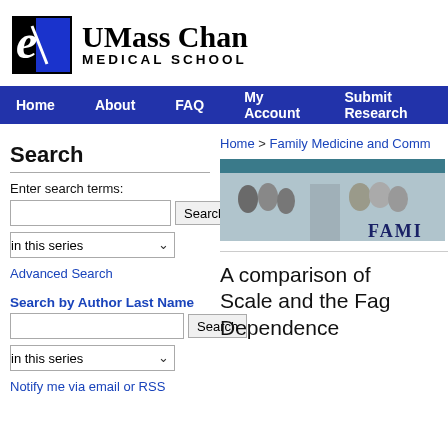[Figure (logo): UMass Chan Medical School logo with stylized U icon and bold text]
Home   About   FAQ   My Account   Submit Research
Search
Enter search terms:
in this series
Advanced Search
Search by Author Last Name
in this series
Notify me via email or RSS
Home > Family Medicine and Comm
[Figure (photo): Department photo banner showing people in hard hats and group, partially visible, labeled FAMI...]
A comparison of Scale and the Fag Dependence